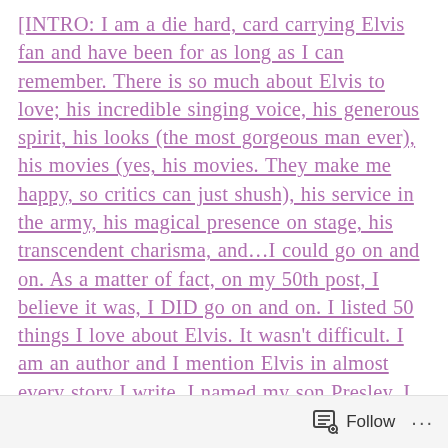[INTRO: I am a die hard, card carrying Elvis fan and have been for as long as I can remember. There is so much about Elvis to love; his incredible singing voice, his generous spirit, his looks (the most gorgeous man ever), his movies (yes, his movies. They make me happy, so critics can just shush), his service in the army, his magical presence on stage, his transcendent charisma, and...I could go on and on. As a matter of fact, on my 50th post, I believe it was, I DID go on and on. I listed 50 things I love about Elvis. It wasn't difficult. I am an author and I mention Elvis in almost every story I write. I named my son Presley. I was fortunate to see Elvis in concert three times. I have been to Graceland five times... See? I love Elvis. I have been blogging weekly for more than a year, but going forward, I will blog every 1st and 3rd Friday of the month.
Follow